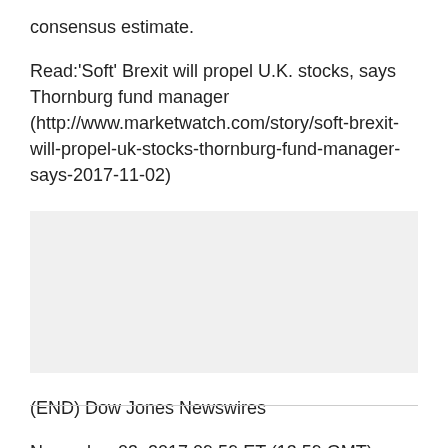consensus estimate.
Read:'Soft' Brexit will propel U.K. stocks, says Thornburg fund manager (http://www.marketwatch.com/story/soft-brexit-will-propel-uk-stocks-thornburg-fund-manager-says-2017-11-02)
[Figure (other): Gray placeholder/advertisement box]
(END) Dow Jones Newswires
November 03, 2017 09:59 ET (13:59 GMT)